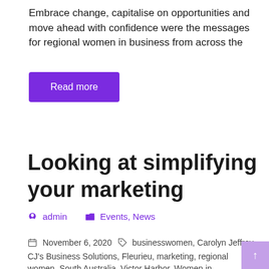Embrace change, capitalise on opportunities and move ahead with confidence were the messages for regional women in business from across the
Read more
Looking at simplifying your marketing
admin   Events, News
November 6, 2020   businesswomen, Carolyn Jeffrey, CJ's Business Solutions, Fleurieu, marketing, regional women, South Australia, Victor Harbor, Women in Business, Women in